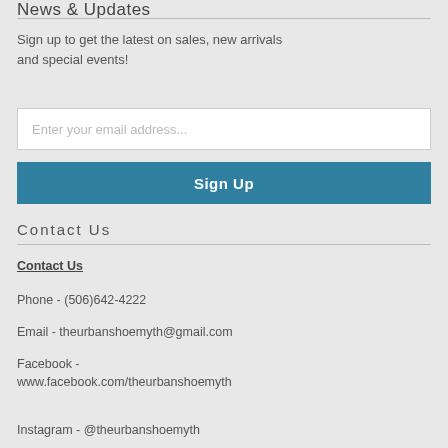News & Updates
Sign up to get the latest on sales, new arrivals and special events!
[Figure (other): Email input field with placeholder 'Enter your email address...']
[Figure (other): Sign Up button in teal/blue color]
Contact Us
Contact Us
Phone - (506)642-4222
Email - theurbanshoemyth@gmail.com
Facebook - www.facebook.com/theurbanshoemyth
Instagram - @theurbanshoemyth